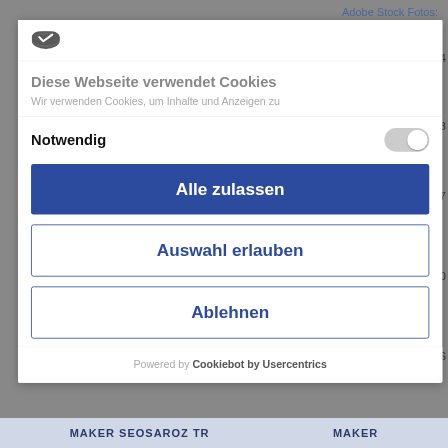Adobe Stock Fotos:
[Figure (screenshot): Cookie consent modal dialog in German with cookie icon, title 'Diese Webseite verwendet Cookies', body text 'Wir verwenden Cookies, um Inhalte und Anzeigen zu', a 'Notwendig' toggle (off/grey), three buttons: 'Alle zulassen' (blue filled), 'Auswahl erlauben' (blue outlined), 'Ablehnen' (blue outlined), and footer 'Powered by Cookiebot by Usercentrics']
MAKER SEOSAROZ TR   MAKER